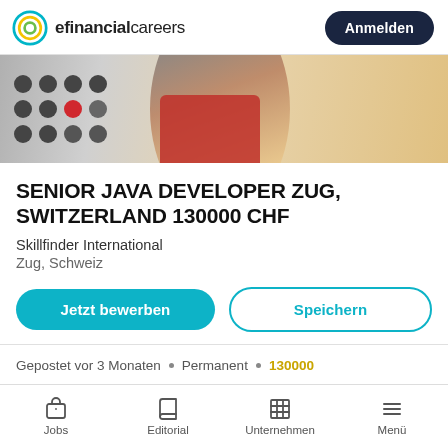efinancialcareers — Anmelden
[Figure (screenshot): efinancialcareers website header with logo and Anmelden (login) button]
[Figure (photo): Banner image of a woman in a red coat looking upward in a city street, with a company logo overlay featuring a grid of dark dots with one red dot]
SENIOR JAVA DEVELOPER ZUG, SWITZERLAND 130000 CHF
Skillfinder International
Zug, Schweiz
Jetzt bewerben | Speichern
Gepostet vor 3 Monaten • Permanent • 130000
Jobs | Editorial | Unternehmen | Menü